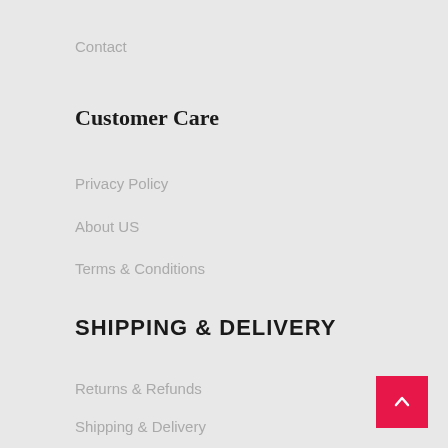Contact
Customer Care
Privacy Policy
About US
Terms & Conditions
SHIPPING & DELIVERY
Returns & Refunds
Shipping & Delivery